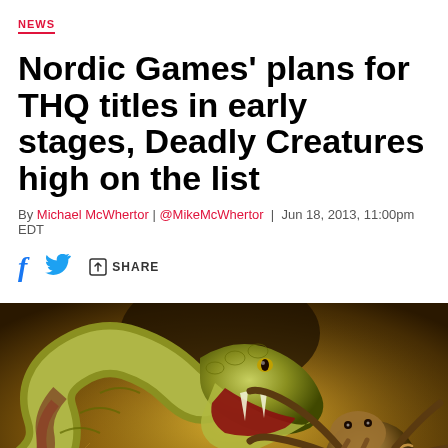NEWS
Nordic Games' plans for THQ titles in early stages, Deadly Creatures high on the list
By Michael McWhertor | @MikeMcWhertor | Jun 18, 2013, 11:00pm EDT
[Figure (illustration): Illustration of a snake and a tarantula spider facing each other, from the Deadly Creatures video game cover art, with golden/warm color tones]